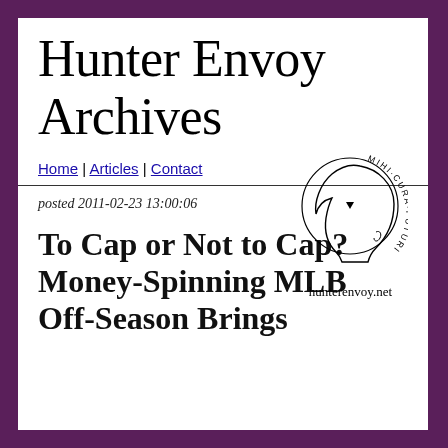Hunter Envoy Archives
[Figure (logo): A circular logo showing a side profile of a human head with the text 'MIHI·CURA·FUTURI' around the top, with 'hunterenvoy.net' below]
Home | Articles | Contact
posted 2011-02-23 13:00:06
To Cap or Not to Cap? Money-Spinning MLB Off-Season Brings